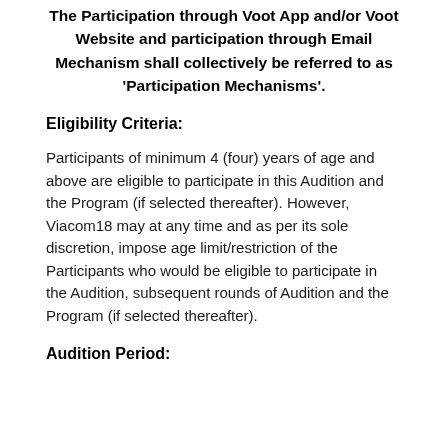The Participation through Voot App and/or Voot Website and participation through Email Mechanism shall collectively be referred to as ‘Participation Mechanisms’.
Eligibility Criteria:
Participants of minimum 4 (four) years of age and above are eligible to participate in this Audition and the Program (if selected thereafter). However, Viacom18 may at any time and as per its sole discretion, impose age limit/restriction of the Participants who would be eligible to participate in the Audition, subsequent rounds of Audition and the Program (if selected thereafter).
Audition Period: